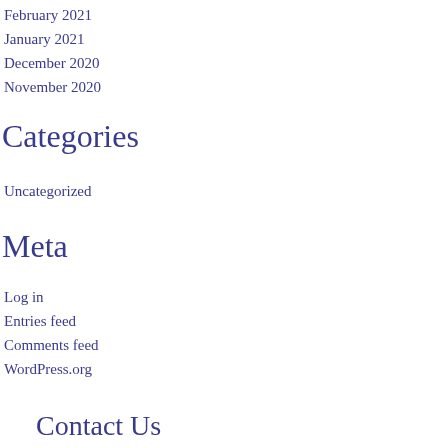February 2021
January 2021
December 2020
November 2020
Categories
Uncategorized
Meta
Log in
Entries feed
Comments feed
WordPress.org
Contact Us